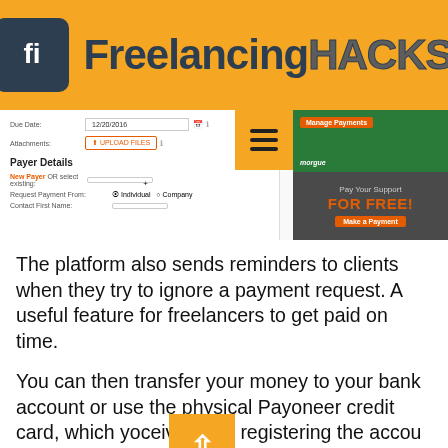Freelancing HACKS
[Figure (screenshot): Screenshot of a payment form interface showing Due Date field (12/20/2016), Attachments with Upload Files button, Payer Details section with New Payer or select existing dropdown, Request Payment From radio buttons (Individual/Company), Contact First Name field. Right panel shows green Manage Payments banner and dark Pay Your Support FOR FREE Make a Payment banner. Orange menu hamburger button overlay.]
The platform also sends reminders to clients when they try to ignore a payment request. A useful feature for freelancers to get paid on time.
You can then transfer your money to your bank account or use the physical Payoneer credit card, which yo ceive upon registering the accou to withdraw the